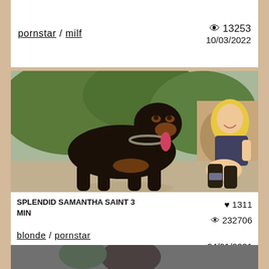pornstar / milf   👁 13253   10/03/2022
[Figure (photo): A Rottweiler dog with a chain collar standing outdoors with a blonde woman crouching beside it. Watermark: 'Samant']
SPLENDID SAMANTHA SAINT 3 MIN   ♥ 1311   👁 232706   24/01/2021
blonde / pornstar
[Figure (photo): Partial thumbnail of another video at bottom of page]